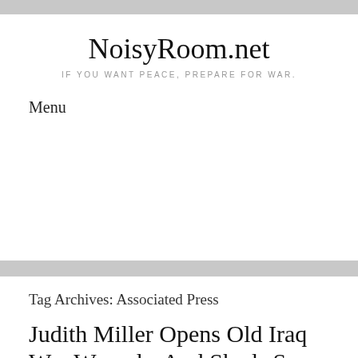NoisyRoom.net
IF YOU WANT PEACE, PREPARE FOR WAR.
Menu
Tag Archives: Associated Press
Judith Miller Opens Old Iraq War Wounds, And Sheds Some New Light